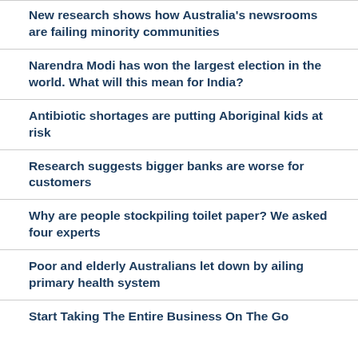New research shows how Australia's newsrooms are failing minority communities
Narendra Modi has won the largest election in the world. What will this mean for India?
Antibiotic shortages are putting Aboriginal kids at risk
Research suggests bigger banks are worse for customers
Why are people stockpiling toilet paper? We asked four experts
Poor and elderly Australians let down by ailing primary health system
Start Taking The Entire Business On The Go